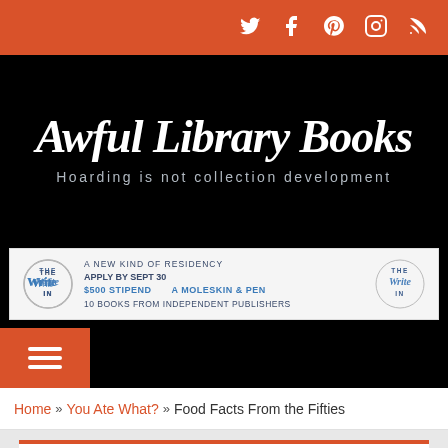Social media icons: Twitter, Facebook, Pinterest, Instagram, RSS
Awful Library Books
Hoarding is not collection development
[Figure (other): THE WRITE IN advertisement banner: A NEW KIND OF RESIDENCY, APPLY BY SEPT 30, $500 STIPEND, A MOLESKIN & PEN, 10 BOOKS FROM INDEPENDENT PUBLISHERS]
[Figure (other): Hamburger menu button (three horizontal lines) on orange/red background]
Home » You Ate What? » Food Facts From the Fifties
FOOD FACTS FROM THE FIFTIES